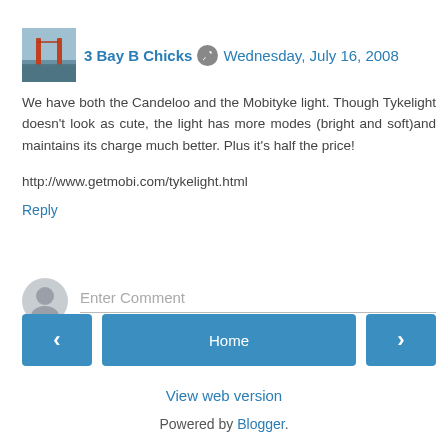3 Bay B Chicks  Wednesday, July 16, 2008
We have both the Candeloo and the Mobityke light. Though Tykelight doesn't look as cute, the light has more modes (bright and soft)and maintains its charge much better. Plus it's half the price!

http://www.getmobi.com/tykelight.html
Reply
Enter Comment
Home
View web version
Powered by Blogger.